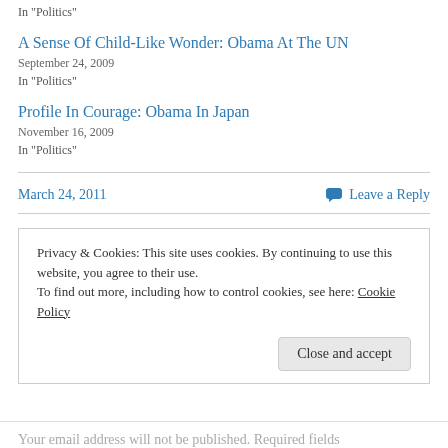In "Politics"
A Sense Of Child-Like Wonder: Obama At The UN
September 24, 2009
In "Politics"
Profile In Courage: Obama In Japan
November 16, 2009
In "Politics"
March 24, 2011
Leave a Reply
Privacy & Cookies: This site uses cookies. By continuing to use this website, you agree to their use.
To find out more, including how to control cookies, see here: Cookie Policy
Close and accept
Your email address will not be published. Required fields